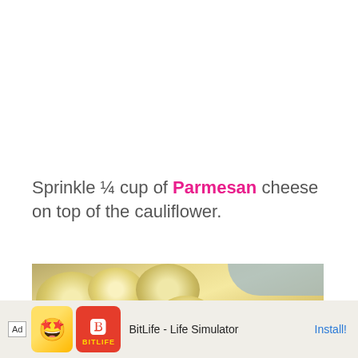Sprinkle ¼ cup of Parmesan cheese on top of the cauliflower.
[Figure (photo): Close-up photo of cauliflower florets coated with grated Parmesan cheese in a baking dish, viewed from above at an angle. The cheese appears finely grated and white/yellow, covering the pale cauliflower pieces.]
Ad  BitLife - Life Simulator  Install!